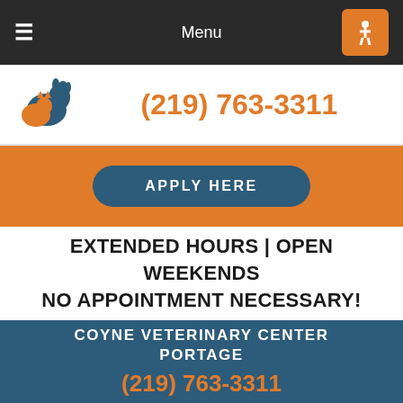Menu
(219) 763-3311
APPLY HERE
EXTENDED HOURS | OPEN WEEKENDS NO APPOINTMENT NECESSARY!
COYNE VETERINARY CENTER PORTAGE
(219) 763-3311